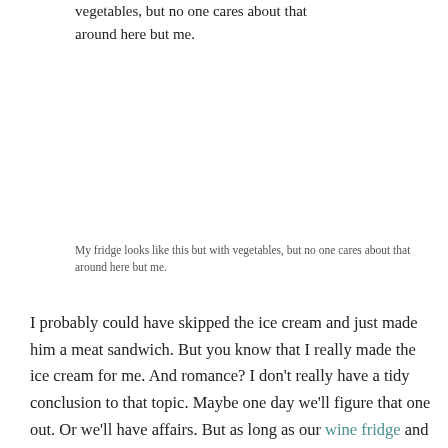vegetables, but no one cares about that around here but me.
My fridge looks like this but with vegetables, but no one cares about that around here but me.
I probably could have skipped the ice cream and just made him a meat sandwich. But you know that I really made the ice cream for me. And romance? I don't really have a tidy conclusion to that topic. Maybe one day we'll figure that one out. Or we'll have affairs. But as long as our wine fridge and our meat